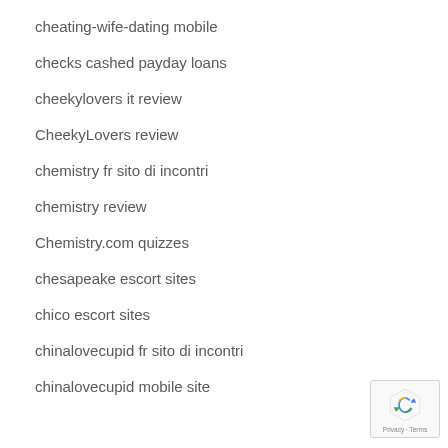cheating-wife-dating mobile
checks cashed payday loans
cheekylovers it review
CheekyLovers review
chemistry fr sito di incontri
chemistry review
Chemistry.com quizzes
chesapeake escort sites
chico escort sites
chinalovecupid fr sito di incontri
chinalovecupid mobile site